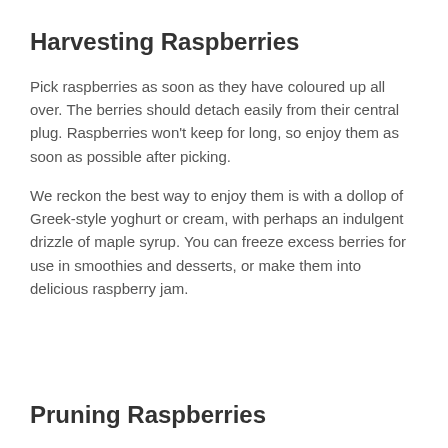Harvesting Raspberries
Pick raspberries as soon as they have coloured up all over. The berries should detach easily from their central plug. Raspberries won't keep for long, so enjoy them as soon as possible after picking.
We reckon the best way to enjoy them is with a dollop of Greek-style yoghurt or cream, with perhaps an indulgent drizzle of maple syrup. You can freeze excess berries for use in smoothies and desserts, or make them into delicious raspberry jam.
Pruning Raspberries